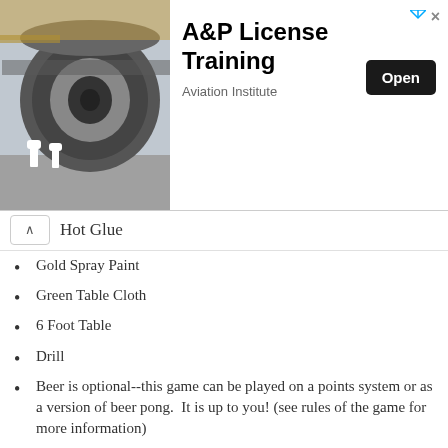[Figure (other): Advertisement banner for A&P License Training from Aviation Institute, showing airplane engine maintenance workers, with an 'Open' button]
Hot Glue
Gold Spray Paint
Green Table Cloth
6 Foot Table
Drill
Beer is optional--this game can be played on a points system or as a version of beer pong.  It is up to you! (see rules of the game for more information)
How to Assemble the Game:
Measure Dowel rods to desired length (again, I didn't really measure...I just eyeballed it.  I'm terrible about that kind of thing).